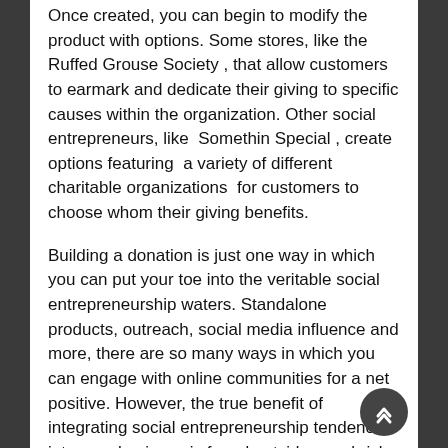Once created, you can begin to modify the product with options. Some stores, like the Ruffed Grouse Society , that allow customers to earmark and dedicate their giving to specific causes within the organization. Other social entrepreneurs, like Somethin Special , create options featuring a variety of different charitable organizations for customers to choose whom their giving benefits.
Building a donation is just one way in which you can put your toe into the veritable social entrepreneurship waters. Standalone products, outreach, social media influence and more, there are so many ways in which you can engage with online communities for a net positive. However, the true benefit of integrating social entrepreneurship tendencies into your business is found outside your brick and mortar. It’s found by following through and aiding the community that needs your helping hand.
Does your business give back to the community? Let us know about what you do in the Contact Us below!